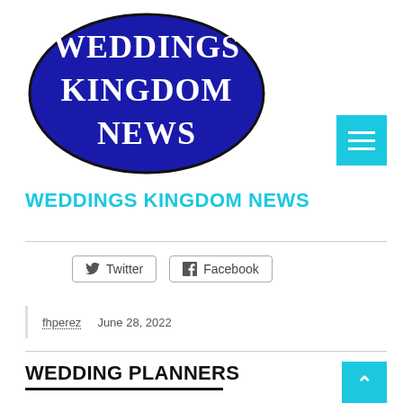[Figure (logo): Weddings Kingdom News oval logo with dark blue background and white serif text reading WEDDINGS KINGDOM NEWS]
WEDDINGS KINGDOM NEWS
Twitter  Facebook
fhperez  June 28, 2022
WEDDING PLANNERS